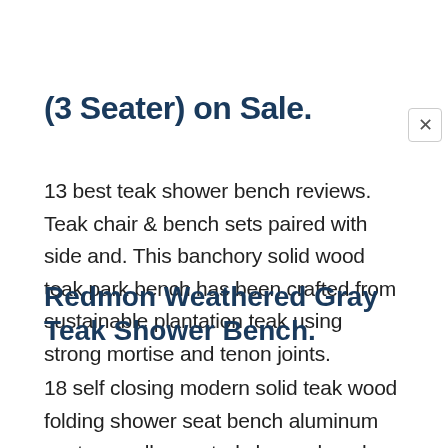(3 Seater) on Sale.
13 best teak shower bench reviews. Teak chair & bench sets paired with side and. This banchory solid wood teak park bench has been crafted from sustainable plantation teak using strong mortise and tenon joints.
Redmon Weathered Gray Teak Shower Bench.
18 self closing modern solid teak wood folding shower seat bench aluminum contour wall mounted shower bench that best folding bench Set of 2 on sale